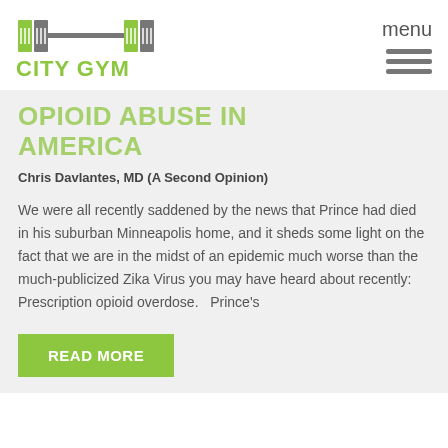[Figure (logo): City Gym logo with barbell icon in green and grey, text 'CITY GYM' in green below]
menu
OPIOID ABUSE IN AMERICA
Chris Davlantes, MD (A Second Opinion)
We were all recently saddened by the news that Prince had died in his suburban Minneapolis home, and it sheds some light on the fact that we are in the midst of an epidemic much worse than the much-publicized Zika Virus you may have heard about recently:  Prescription opioid overdose.   Prince's
READ MORE